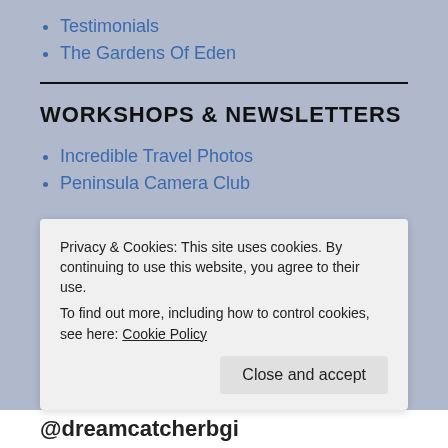Testimonials
The Gardens Of Eden
WORKSHOPS & NEWSLETTERS
Incredible Travel Photos
Peninsula Camera Club
Privacy & Cookies: This site uses cookies. By continuing to use this website, you agree to their use.
To find out more, including how to control cookies, see here: Cookie Policy
Close and accept
@dreamcatcherbgi